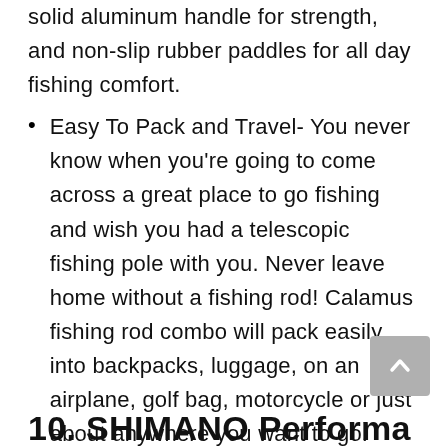solid aluminum handle for strength, and non-slip rubber paddles for all day fishing comfort.
Easy To Pack and Travel- You never know when you're going to come across a great place to go fishing and wish you had a telescopic fishing pole with you. Never leave home without a fishing rod! Calamus fishing rod combo will pack easily into backpacks, luggage, on an airplane, golf bag, motorcycle or just about anywhere you want to go.
10. SHIMANO Performance